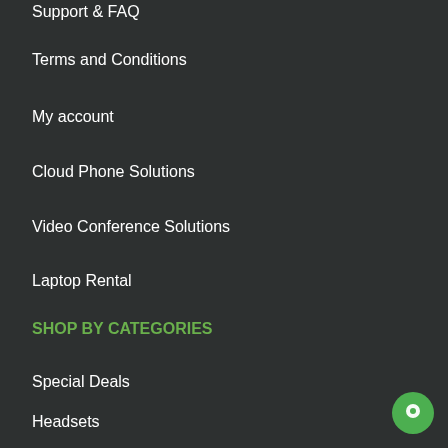Support & FAQ
Terms and Conditions
My account
Cloud Phone Solutions
Video Conference Solutions
Laptop Rental
SHOP BY CATEGORIES
Special Deals
Headsets
Phones
Video Conference
Computers & Tablets
[Figure (illustration): Green circular chat/support bubble icon in bottom right corner]